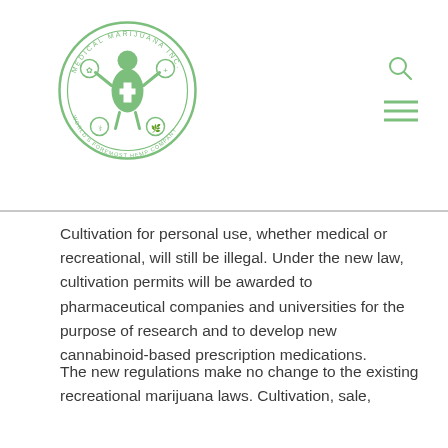[Figure (logo): Medical Marijuana Inc. circular logo with green border, containing a medical cross and cannabis leaf symbols]
Cultivation for personal use, whether medical or recreational, will still be illegal. Under the new law, cultivation permits will be awarded to pharmaceutical companies and universities for the purpose of research and to develop new cannabinoid-based prescription medications.
The new regulations make no change to the existing recreational marijuana laws. Cultivation, sale, possession, and use of marijuana for recreational means is still illegal under the new policies.
Ultimately, the new law will not affect your ability to access and use RSHO-X™ as you have in the past. In fact, the change in regulations would allow patients